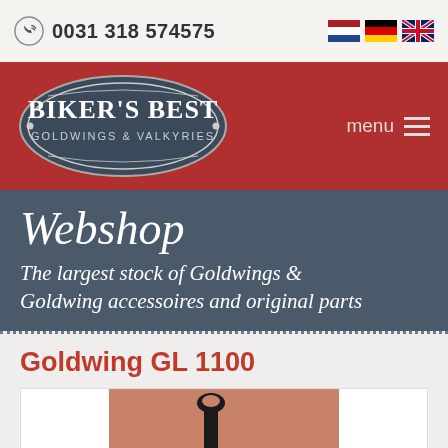0031 318 574575
[Figure (logo): Biker's Best - Goldwings & Valkyries oval logo on red banner with menu icon]
Webshop
The largest stock of Goldwings & Goldwing accessoires and original parts
Goldwing GL 1100
[Figure (photo): Product photo of a motorcycle part (black metal component) against orange/copper background]